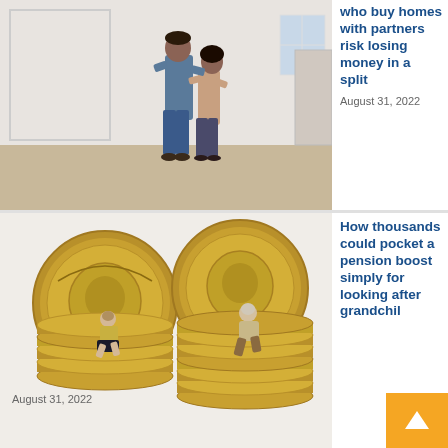[Figure (photo): A couple standing in an empty bright room of a new home, smiling at each other]
who buy homes with partners risk losing money in a split
August 31, 2022
[Figure (photo): Two miniature figurines sitting on top of tall stacks of gold pound coins next to large pound coins in the background]
How thousands could pocket a pension boost simply for looking after grandchil
August 31, 2022